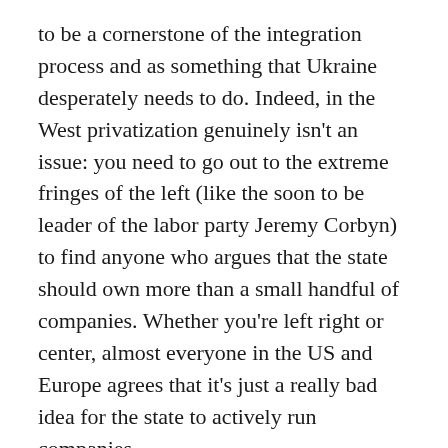to be a cornerstone of the integration process and as something that Ukraine desperately needs to do. Indeed, in the West privatization genuinely isn't an issue: you need to go out to the extreme fringes of the left (like the soon to be leader of the labor party Jeremy Corbyn) to find anyone who argues that the state should own more than a small handful of companies. Whether you're left right or center, almost everyone in the US and Europe agrees that it's just a really bad idea for the state to actively run companies.
The problem is that the Ukrainian public hasn't gotten that memo. When asked what they want to happen to Ukraine's four thousand state-owned enterprises, here's what Ukrainians said: